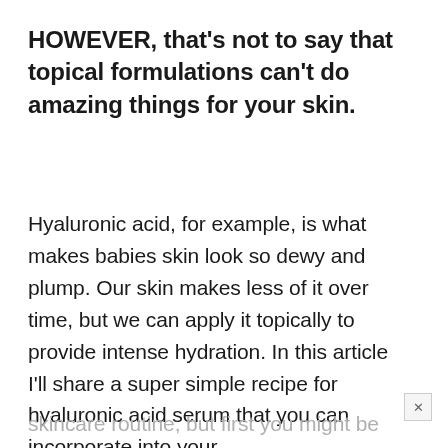HOWEVER, that's not to say that topical formulations can't do amazing things for your skin.
Hyaluronic acid, for example, is what makes babies skin look so dewy and plump. Our skin makes less of it over time, but we can apply it topically to provide intense hydration. In this article I'll share a super simple recipe for hyaluronic acid serum that you can incorporate into your
skincare routine, but first you might be